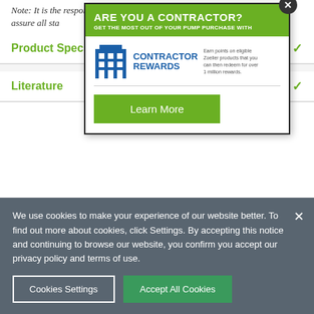Note: It is the responsibility of the engineer/designer to assure all sta...
Product Spec
Literature
[Figure (screenshot): Modal popup: 'ARE YOU A CONTRACTOR? GET THE MOST OUT OF YOUR PUMP PURCHASE WITH Contractor Rewards' logo and 'Learn More' green button, with X close button]
We use cookies to make your experience of our website better. To find out more about cookies, click Settings. By accepting this notice and continuing to browse our website, you confirm you accept our privacy policy and terms of use.